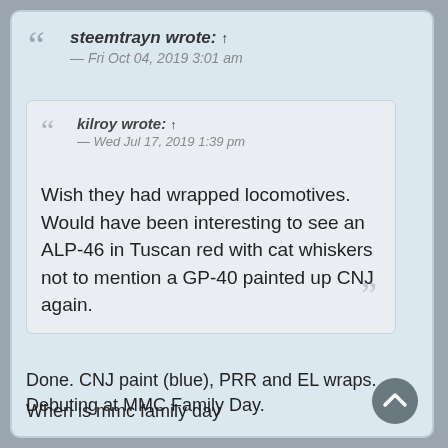steemtrayn wrote: ↑ — Fri Oct 04, 2019 3:01 am
kilroy wrote: ↑ — Wed Jul 17, 2019 1:39 pm
Wish they had wrapped locomotives. Would have been interesting to see an ALP-46 in Tuscan red with cat whiskers not to mention a GP-40 painted up CNJ again.
Done. CNJ paint (blue), PRR and EL wraps. Debuting at MMC Family Day.
When is mmc family day